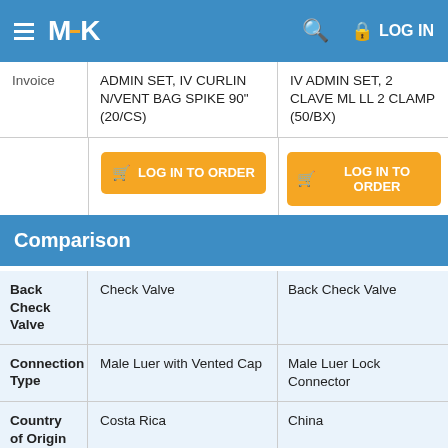MCK LOG IN
|  | Product 1 | Product 2 |
| --- | --- | --- |
| Invoice | ADMIN SET, IV CURLIN N/VENT BAG SPIKE 90" (20/CS) | IV ADMIN SET, 2 CLAVE ML LL 2 CLAMP (50/BX) |
|  | LOG IN TO ORDER | LOG IN TO ORDER |
Comparison
|  | Product 1 | Product 2 |
| --- | --- | --- |
| Back Check Valve | Check Valve | Back Check Valve |
| Connection Type | Male Luer with Vented Cap | Male Luer Lock Connector |
| Country of Origin | Costa Rica | China |
| Drip Rate | 20 Drops / mL Drip Rate | 10 Drops / mL Drip Ra |